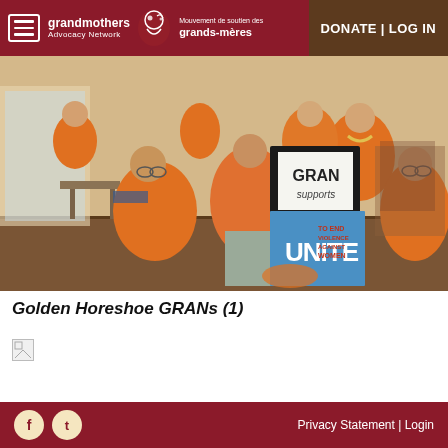grandmothers Advocacy Network | Mouvement de soutien des grands-mères | DONATE | LOG IN
[Figure (photo): Group of women wearing orange shirts and tops, posing together indoors. Some are seated, some standing. In the center, a woman holds two signs: one handwritten sign reading 'GRAN supports' and one printed poster reading 'UNITE TO END VIOLENCE AGAINST WOMEN'.]
Golden Horeshoe GRANs (1)
[Figure (photo): Broken image placeholder (image failed to load)]
Privacy Statement | Login